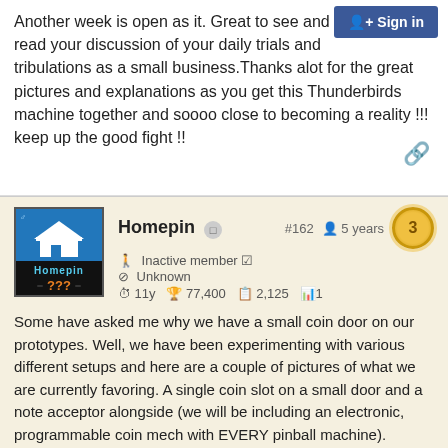Another week is open as it. Great to see and read your discussion of your daily trials and tribulations as a small business.Thanks alot for the great pictures and explanations as you get this Thunderbirds machine together and soooo close to becoming a reality !!! keep up the good fight !!
Homepin #162 5 years 3 | Inactive member ✔ | Unknown | 11y 🏆77,400 📋2,125 📊1
Some have asked me why we have a small coin door on our prototypes. Well, we have been experimenting with various different setups and here are a couple of pictures of what we are currently favoring. A single coin slot on a small door and a note acceptor alongside (we will be including an electronic, programmable coin mech with EVERY pinball machine).
The note acceptor is obviously expensive and for HUO would not be required so we are looking at different ways of dealing with the option.
This setup is not final yet but it looks OK and leaves easy